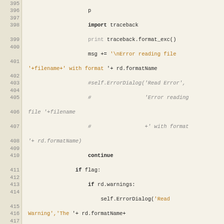[Figure (screenshot): Python source code viewer showing lines 396-420 with line numbers on the left and syntax-highlighted code on the right. Keywords in bold black, strings in orange/brown, comments in grey italic.]